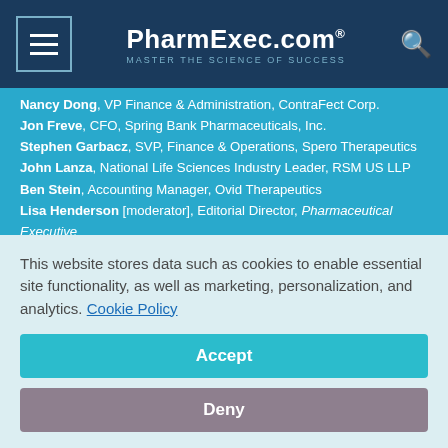PharmExec.com — MASTER THE SCIENCE OF SUCCESS
Nancy Dong, VP Finance & Administration, ContraFect Corp.
Jon Freve, CFO, Spring Bank Pharmaceuticals, Inc.
Stephen Garbacz, SVP, Finance & Operations, Spero Therapeutics
John Lanza, National Life Sciences Industry Leader, RSM US LLP
Ben Stein, Accounting Manager, Ovid Therapeutics
Lisa Henderson [moderator], Editorial Director, Pharmaceutical Executive
NANCY DONG, ContraFect Corp.: In our company, we're relatively small still, about 30 people in the office. And because I have responsibility for HR, I have become more
This website stores data such as cookies to enable essential site functionality, as well as marketing, personalization, and analytics. Cookie Policy
Accept
Deny